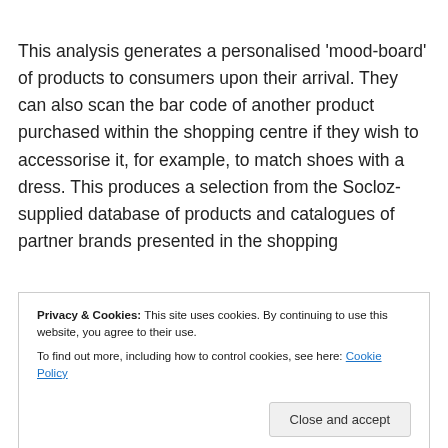This analysis generates a personalised 'mood-board' of products to consumers upon their arrival. They can also scan the bar code of another product purchased within the shopping centre if they wish to accessorise it, for example, to match shoes with a dress. This produces a selection from the Socloz-supplied database of products and catalogues of partner brands presented in the shopping
Privacy & Cookies: This site uses cookies. By continuing to use this website, you agree to their use. To find out more, including how to control cookies, see here: Cookie Policy
recommendation engine, made with PigData, and